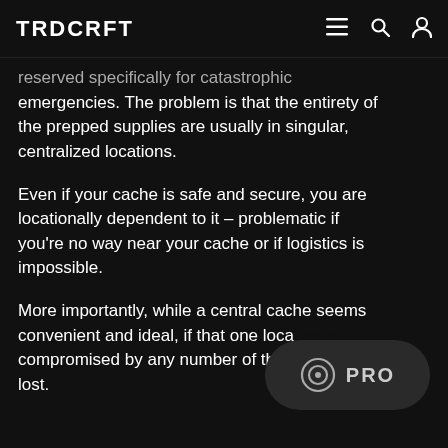TRDCRFT
reserved specifically for catastrophic emergencies. The problem is that the entirety of the prepped supplies are usually in singular, centralized locations.
Even if your cache is safe and secure, you are locationally dependent to it – problematic if you're no way near your cache or if logistics is impossible.
More importantly, while a central cache seems convenient and ideal, if that one location is compromised by any number of threats, all is lost.
[Figure (logo): PRO badge with circular icon in bottom right corner]